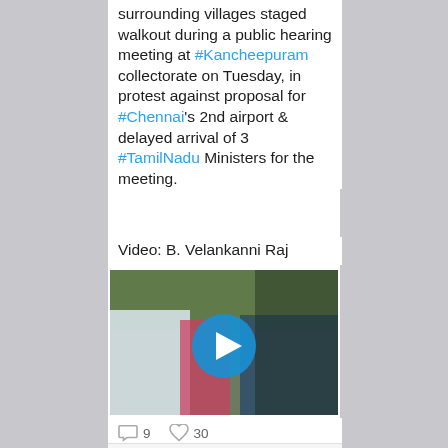surrounding villages staged walkout during a public hearing meeting at #Kancheepuram collectorate on Tuesday, in protest against proposal for #Chennai's 2nd airport & delayed arrival of 3 #TamilNadu Ministers for the meeting.
Video: B. Velankanni Raj
[Figure (photo): Video thumbnail showing a group of people outdoors with trees in background, with a blue play button overlay in the center]
9 replies, 30 likes
AntiAero Retweeted